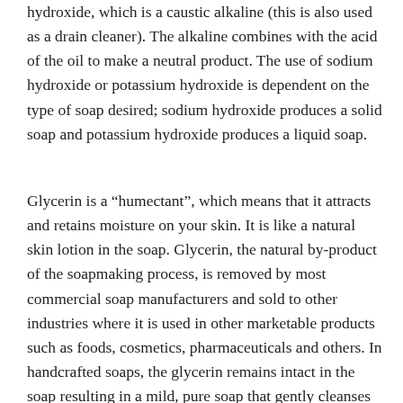hydroxide, which is a caustic alkaline (this is also used as a drain cleaner). The alkaline combines with the acid of the oil to make a neutral product. The use of sodium hydroxide or potassium hydroxide is dependent on the type of soap desired; sodium hydroxide produces a solid soap and potassium hydroxide produces a liquid soap.
Glycerin is a “humectant”, which means that it attracts and retains moisture on your skin. It is like a natural skin lotion in the soap. Glycerin, the natural by-product of the soapmaking process, is removed by most commercial soap manufacturers and sold to other industries where it is used in other marketable products such as foods, cosmetics, pharmaceuticals and others. In handcrafted soaps, the glycerin remains intact in the soap resulting in a mild, pure soap that gently cleanses your skin without being harsh, irritating or drying.